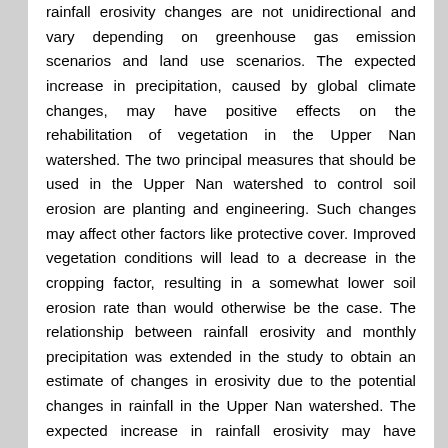rainfall erosivity changes are not unidirectional and vary depending on greenhouse gas emission scenarios and land use scenarios. The expected increase in precipitation, caused by global climate changes, may have positive effects on the rehabilitation of vegetation in the Upper Nan watershed. The two principal measures that should be used in the Upper Nan watershed to control soil erosion are planting and engineering. Such changes may affect other factors like protective cover. Improved vegetation conditions will lead to a decrease in the cropping factor, resulting in a somewhat lower soil erosion rate than would otherwise be the case. The relationship between rainfall erosivity and monthly precipitation was extended in the study to obtain an estimate of changes in erosivity due to the potential changes in rainfall in the Upper Nan watershed. The expected increase in rainfall erosivity may have significant effects on soil and water conservation in the study area. Thus, the presumable increase in erosion potential will make more soil conservation efforts necessary in the watershed. However, the quantity and